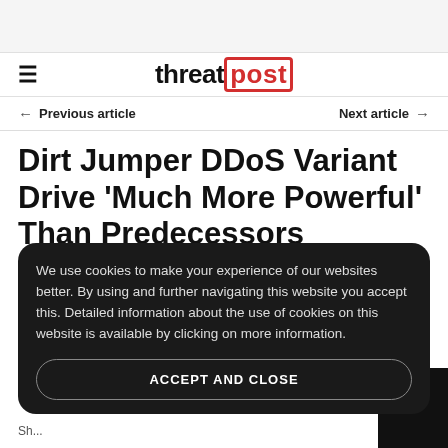threatpost
Previous article   Next article
Dirt Jumper DDoS Variant Drive 'Much More Powerful' Than Predecessors
We use cookies to make your experience of our websites better. By using and further navigating this website you accept this. Detailed information about the use of cookies on this website is available by clicking on more information.
ACCEPT AND CLOSE